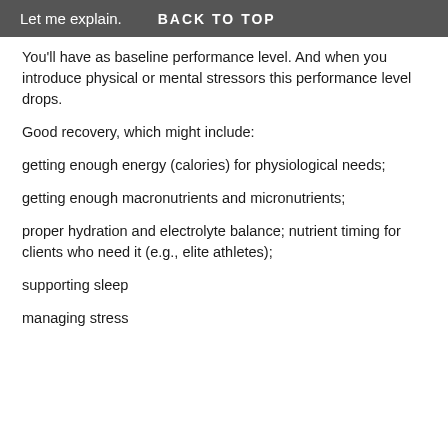Let me explain.   BACK TO TOP
You'll have as baseline performance level. And when you introduce physical or mental stressors this performance level drops.
Good recovery, which might include:
getting enough energy (calories) for physiological needs;
getting enough macronutrients and micronutrients;
proper hydration and electrolyte balance; nutrient timing for clients who need it (e.g., elite athletes);
supporting sleep
managing stress